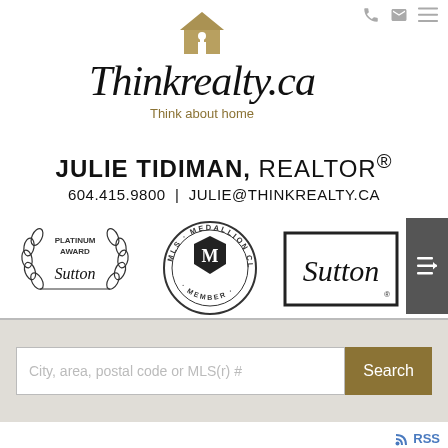[Figure (logo): Thinkrealty.ca logo with house icon, cursive text 'Thinkrealty.ca' and tagline 'Think about home']
JULIE TIDIMAN, REALTOR®
604.415.9800 | JULIE@THINKREALTY.CA
[Figure (logo): Sutton Platinum Award badge with laurel wreath]
[Figure (logo): MLS Medallion Club Member circular badge]
[Figure (logo): Sutton logo in rectangular border]
City, area, postal code or MLS(r) #
Search
RSS